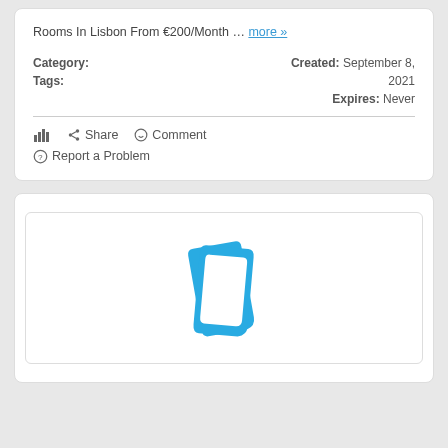Rooms In Lisbon From €200/Month … more »
Category:
Tags:
Created: September 8, 2021
Expires: Never
Share   Comment   Report a Problem
[Figure (logo): Blue stylized book/card logo on white background]